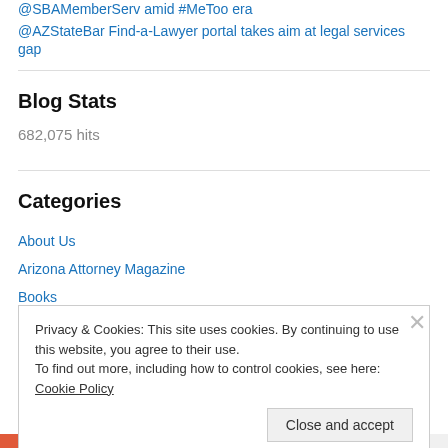@SBAMemberServ amid #MeToo era
@AZStateBar Find-a-Lawyer portal takes aim at legal services gap
Blog Stats
682,075 hits
Categories
About Us
Arizona Attorney Magazine
Books
Privacy & Cookies: This site uses cookies. By continuing to use this website, you agree to their use. To find out more, including how to control cookies, see here: Cookie Policy
Close and accept